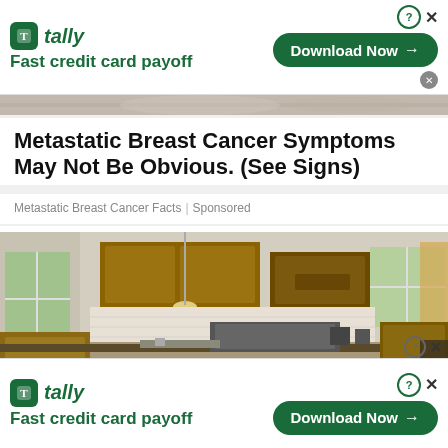[Figure (screenshot): Tally app advertisement banner top - Fast credit card payoff with Download Now button]
[Figure (photo): Partial photo strip showing skin/body close-up]
Metastatic Breast Cancer Symptoms May Not Be Obvious. (See Signs)
Metastatic Breast Cancer Facts | Sponsored
[Figure (photo): Kitchen interior with wooden cabinets, pendant lights, stainless appliances, and windows]
[Figure (screenshot): Tally app advertisement banner bottom - Fast credit card payoff with Download Now button]